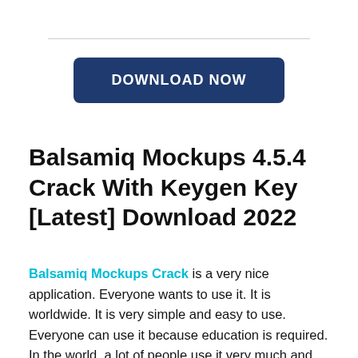[Figure (other): Dark navy blue rounded rectangle button with white bold uppercase text 'DOWNLOAD NOW']
Balsamiq Mockups 4.5.4 Crack With Keygen Key [Latest] Download 2022
Balsamiq Mockups Crack is a very nice application. Everyone wants to use it. It is worldwide. It is very simple and easy to use. Everyone can use it because education is required. In the world, a lot of people use it very much and like it. If I share my knowledge about this application, first of all when I install it I consider